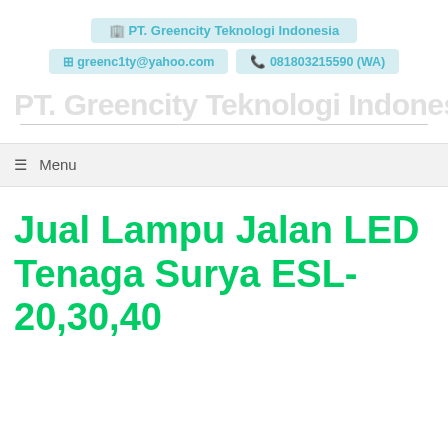🏢 PT. Greencity Teknologi Indonesia
✉ greenc1ty@yahoo.com   📞 081803215590 (WA)
PT. Greencity Teknologi Indonesia
☰ Menu
Jual Lampu Jalan LED Tenaga Surya ESL-20,30,40